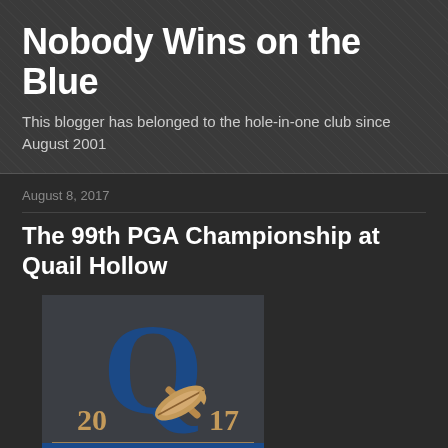Nobody Wins on the Blue
This blogger has belonged to the hole-in-one club since August 2001
August 8, 2017
The 99th PGA Championship at Quail Hollow
[Figure (logo): Quail Hollow 2017 PGA Championship logo featuring a large blue Q letter with a gold/bronze feather leaf and the year 2017 split on either side, PGA text at bottom]